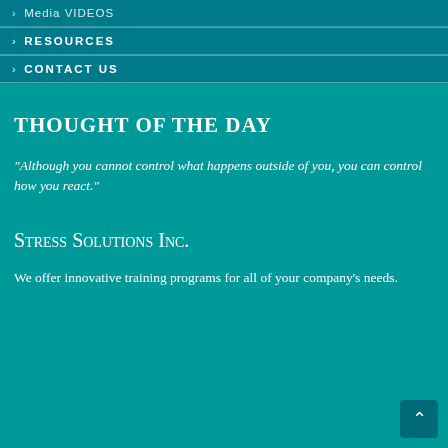> Media VIDEOS
> RESOURCES
> CONTACT US
THOUGHT OF THE DAY
"Although you cannot control what happens outside of you, you can control how you react."
Stress Solutions Inc.
We offer innovative training programs for all of your company's needs.